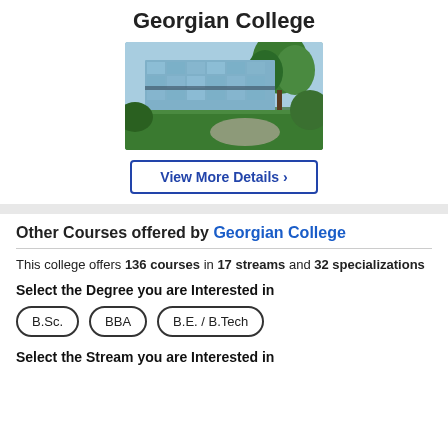Georgian College
[Figure (photo): Photo of Georgian College building exterior with glass facade and trees]
View More Details ›
Other Courses offered by Georgian College
This college offers 136 courses in 17 streams and 32 specializations
Select the Degree you are Interested in
B.Sc.
BBA
B.E. / B.Tech
Select the Stream you are Interested in